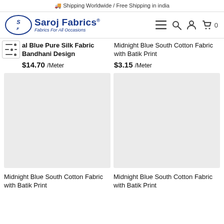🚚 Shipping Worldwide / Free Shipping in india
[Figure (logo): Saroj Fabrics logo with oval emblem and tagline 'Fabrics For All Occasions']
Royal Blue Pure Silk Fabric Bandhani Design
$14.70 /Meter
Midnight Blue South Cotton Fabric with Batik Print
$3.15 /Meter
[Figure (photo): Product image placeholder - light grey rectangle]
[Figure (photo): Product image placeholder - light grey rectangle]
Midnight Blue South Cotton Fabric with Batik Print
Midnight Blue South Cotton Fabric with Batik Print